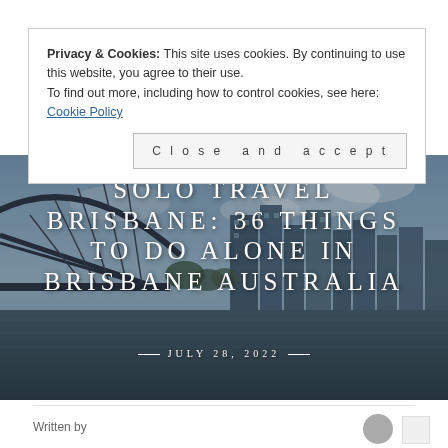Privacy & Cookies: This site uses cookies. By continuing to use this website, you agree to their use.
To find out more, including how to control cookies, see here:
Cookie Policy
Close and accept
[Figure (photo): Hero image of Brisbane city skyline with Story Bridge visible, overlaid with the article title text and date.]
SOLO TRAVEL BRISBANE: 36 THINGS TO DO ALONE IN BRISBANE AUSTRALIA
— JULY 28, 2022 —
Written by